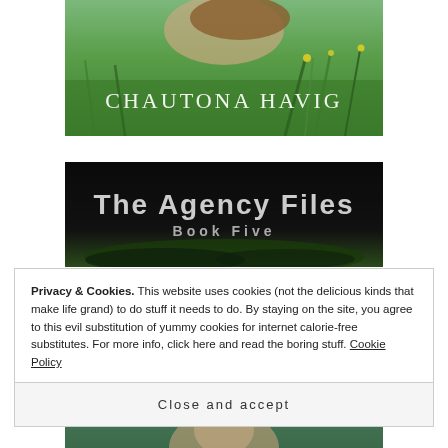[Figure (illustration): Book cover partial: woman in a green field/grass background with author name 'CHAUTONA HAVIG' in white serif text overlaid on green nature background]
[Figure (illustration): Book cover partial: dark/black background with text 'The Agency Files' in large silver/white display font and 'Book Five' below it in smaller spaced caps]
Privacy & Cookies. This website uses cookies (not the delicious kinds that make life grand) to do stuff it needs to do. By staying on the site, you agree to this evil substitution of yummy cookies for internet calorie-free substitutes. For more info, click here and read the boring stuff. Cookie Policy
Close and accept
[Figure (photo): Partial book cover at bottom: blurred face/person photo]